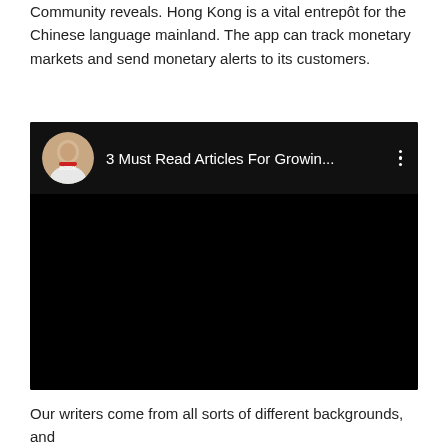Community reveals. Hong Kong is a vital entrepôt for the Chinese language mainland. The app can track monetary markets and send monetary alerts to its customers.
[Figure (screenshot): Embedded video player screenshot showing a YouTube-style video embed with a channel avatar, title '3 Must Read Articles For Growin...' and a three-dot menu icon, with a black video area below.]
Our writers come from all sorts of different backgrounds, and